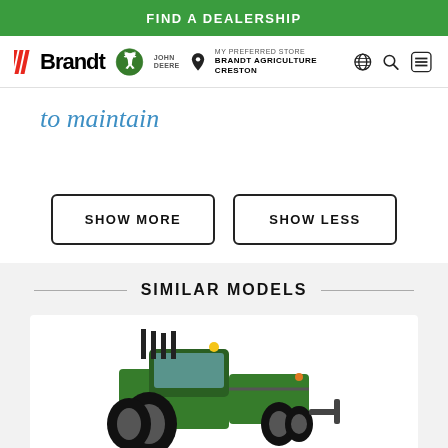FIND A DEALERSHIP
[Figure (logo): Brandt and John Deere logos in navigation bar]
MY PREFERRED STORE
BRANDT AGRICULTURE CRESTON
to maintain
SHOW MORE
SHOW LESS
SIMILAR MODELS
[Figure (photo): A green John Deere articulated tractor shown from the front/side angle]